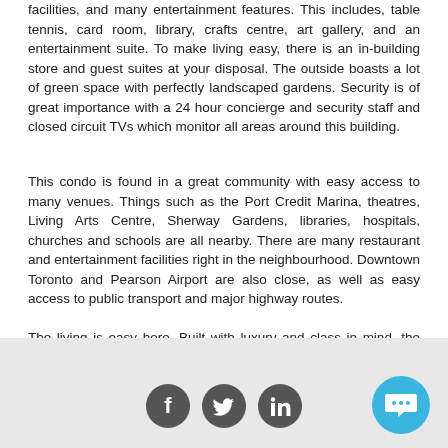facilities, and many entertainment features. This includes, table tennis, card room, library, crafts centre, art gallery, and an entertainment suite. To make living easy, there is an in-building store and guest suites at your disposal. The outside boasts a lot of green space with perfectly landscaped gardens. Security is of great importance with a 24 hour concierge and security staff and closed circuit TVs which monitor all areas around this building.
This condo is found in a great community with easy access to many venues. Things such as the Port Credit Marina, theatres, Living Arts Centre, Sherway Gardens, libraries, hospitals, churches and schools are all nearby. There are many restaurant and entertainment facilities right in the neighbourhood. Downtown Toronto and Pearson Airport are also close, as well as easy access to public transport and major highway routes.
The living is easy here. Built with luxury and class in mind, the Applewood Landmark condo offers spacious units, the finest leisure activities and a great location.
Social media icons: Facebook, Twitter, LinkedIn; Chat button